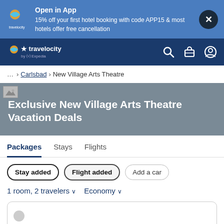[Figure (screenshot): Travelocity app banner with logo, promotional text, and close button]
[Figure (screenshot): Travelocity navigation bar with logo, search, trip, and account icons]
... > Carlsbad > New Village Arts Theatre
Exclusive New Village Arts Theatre Vacation Deals
Packages  Stays  Flights
Stay added  Flight added  Add a car
1 room, 2 travelers  ∨  Economy  ∨